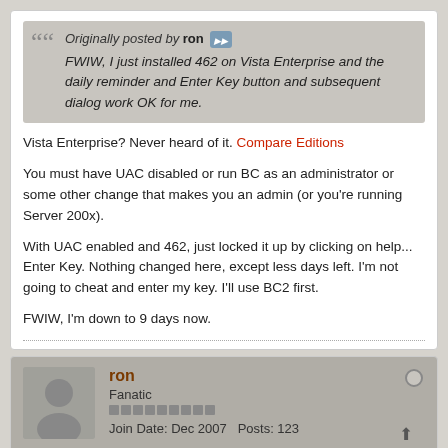Originally posted by ron — FWIW, I just installed 462 on Vista Enterprise and the daily reminder and Enter Key button and subsequent dialog work OK for me.
Vista Enterprise? Never heard of it. Compare Editions
You must have UAC disabled or run BC as an administrator or some other change that makes you an admin (or you're running Server 200x).
With UAC enabled and 462, just locked it up by clicking on help... Enter Key. Nothing changed here, except less days left. I'm not going to cheat and enter my key. I'll use BC2 first.
FWIW, I'm down to 9 days now.
ron
Fanatic
Join Date: Dec 2007   Posts: 123
16-Jul-2008, 10:37 AM   #11